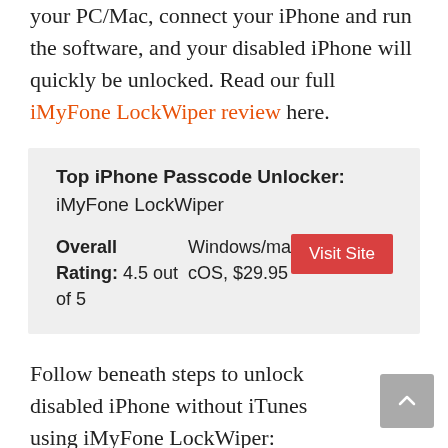your PC/Mac, connect your iPhone and run the software, and your disabled iPhone will quickly be unlocked. Read our full iMyFone LockWiper review here.
Top iPhone Passcode Unlocker: iMyMyFone LockWiper
Overall Rating: 4.5 out of 5
Windows/macOS, $29.95
[Visit Site]
Follow beneath steps to unlock disabled iPhone without iTunes using iMyFone LockWiper: